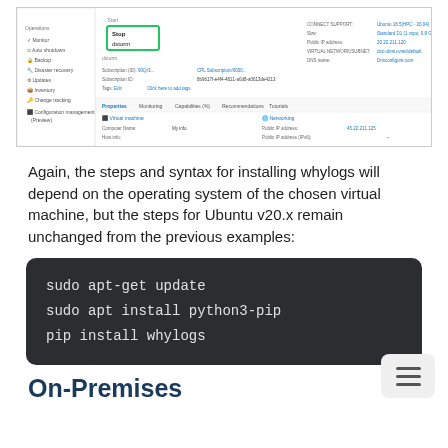[Figure (screenshot): Azure portal screenshot showing a virtual machine details panel with a green-highlighted dropdown menu open, showing options including 'Start' and 'dstorm'. Various VM properties are visible including subscription ID, resource group, OS disk, and networking details.]
Again, the steps and syntax for installing whylogs will depend on the operating system of the chosen virtual machine, but the steps for Ubuntu v20.x remain unchanged from the previous examples:
sudo apt-get update
sudo apt install python3-pip
pip install whylogs
On-Premises